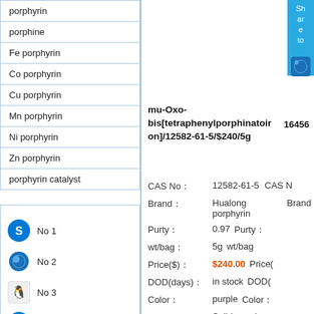porphyrin
porphine
Fe porphyrin
Co porphyrin
Cu porphyrin
Mn porphyrin
Ni porphyrin
Zn porphyrin
porphyrin catalyst
No 1
No 2
No 3
No 4
mu-Oxo-bis[tetraphenylporphinatoiron]/12582-61-5/$240/5g
CAS No： 12582-61-5
Brand： Hualong porphyrin
Purty： 0.97
wt/bag： 5g
Price($)： $240.00
DOD(days)： in stock
Color： purple
State： Solid powder
Stocks(g)： 520
Stockpile： Changsha, China